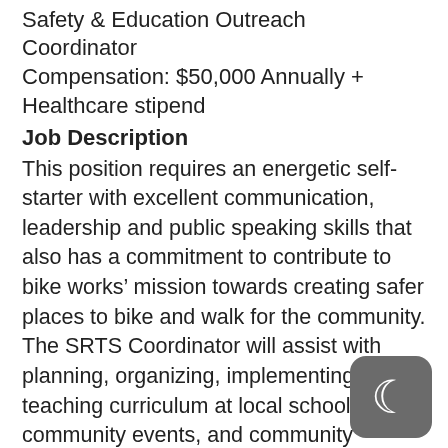Safety & Education Outreach Coordinator
Compensation: $50,000 Annually + Healthcare stipend
Job Description
This position requires an energetic self-starter with excellent communication, leadership and public speaking skills that also has a commitment to contribute to bike works’ mission towards creating safer places to bike and walk for the community. The SRTS Coordinator will assist with planning, organizing, implementing, and teaching curriculum at local schools, community events, and community partner spaces – both in person and virtually. Additionally, they will collaborate with internal and external stakeholders to support SRTS programming and a variety of bike works’ initiatives.
[Figure (logo): Dark grey rounded square icon with a white crescent moon symbol]